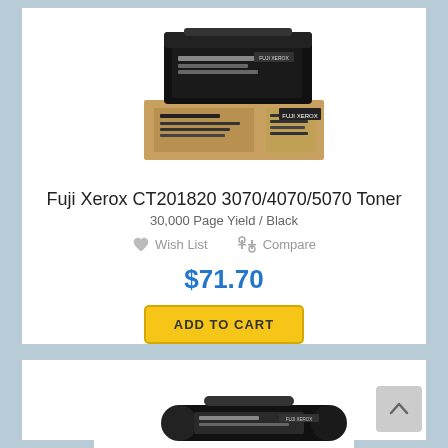[Figure (photo): Fuji Xerox toner cartridge box product photo - black toner in brown box]
Fuji Xerox CT201820 3070/4070/5070 Toner
30,000 Page Yield / Black
Wish List   Compare
$71.70
ADD TO CART
[Figure (photo): Fuji Xerox toner cartridge product photo - cylindrical black toner with brown box]
Fuji Xerox CT201948 DB455 Toner